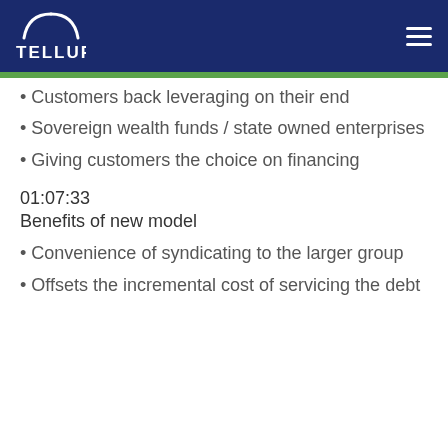TELLURIAN
Customers back leveraging on their end
Sovereign wealth funds / state owned enterprises
Giving customers the choice on financing
01:07:33
Benefits of new model
Convenience of syndicating to the larger group
Offsets the incremental cost of servicing the debt